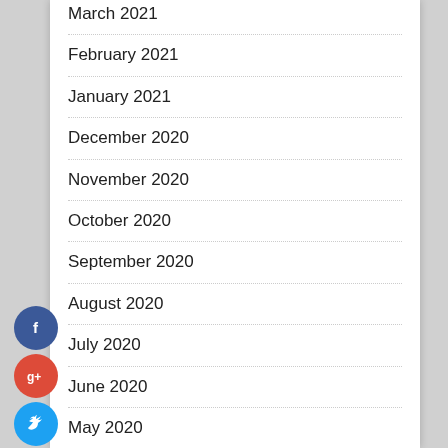March 2021
February 2021
January 2021
December 2020
November 2020
October 2020
September 2020
August 2020
July 2020
June 2020
May 2020
April 2020
[Figure (infographic): Social sharing buttons: Facebook (blue circle), Google+ (red circle), Twitter (blue circle), Plus/add (dark blue circle)]